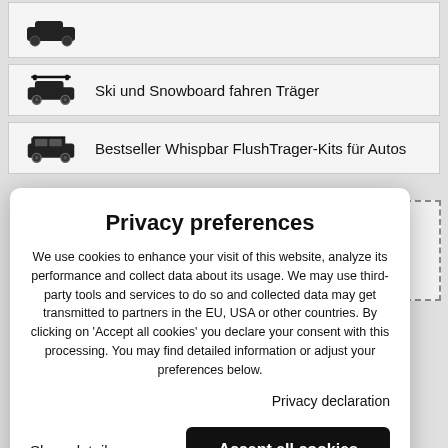Ski und Snowboard fahren Träger
Bestseller Whispbar FlushTrager-Kits für Autos
[Figure (screenshot): YouTube videos are blocked by Privacy - dashed border box]
Privacy preferences
We use cookies to enhance your visit of this website, analyze its performance and collect data about its usage. We may use third-party tools and services to do so and collected data may get transmitted to partners in the EU, USA or other countries. By clicking on 'Accept all cookies' you declare your consent with this processing. You may find detailed information or adjust your preferences below.
Privacy declaration
Show details
Accept all cookies